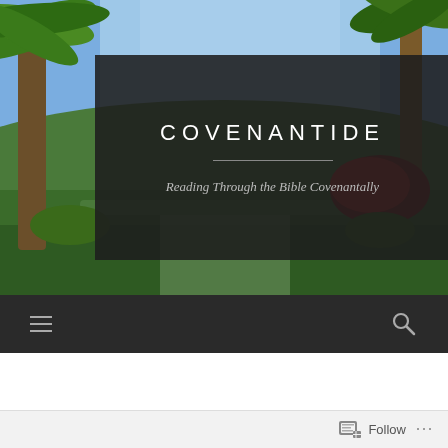[Figure (photo): Outdoor garden scene with palm trees and tropical vegetation as hero background image]
COVENANTIDE
Reading Through the Bible Covenantally
MOSAIC COVENANT
Follow  ...